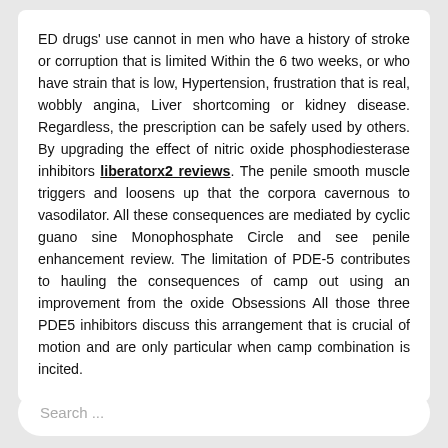ED drugs' use cannot in men who have a history of stroke or corruption that is limited Within the 6 two weeks, or who have strain that is low, Hypertension, frustration that is real, wobbly angina, Liver shortcoming or kidney disease. Regardless, the prescription can be safely used by others. By upgrading the effect of nitric oxide phosphodiesterase inhibitors liberatorx2 reviews. The penile smooth muscle triggers and loosens up that the corpora cavernous to vasodilator. All these consequences are mediated by cyclic guano sine Monophosphate Circle and see penile enhancement review. The limitation of PDE-5 contributes to hauling the consequences of camp out using an improvement from the oxide Obsessions All those three PDE5 inhibitors discuss this arrangement that is crucial of motion and are only particular when camp combination is incited.
Search ...